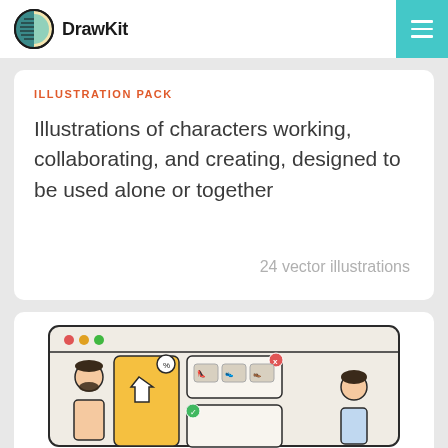DrawKit
ILLUSTRATION PACK
Illustrations of characters working, collaborating, and creating, designed to be used alone or together
24 vector illustrations
[Figure (illustration): A browser window illustration showing an e-commerce scene with a person browsing clothes and shoes, with product cards and a shopping interface.]